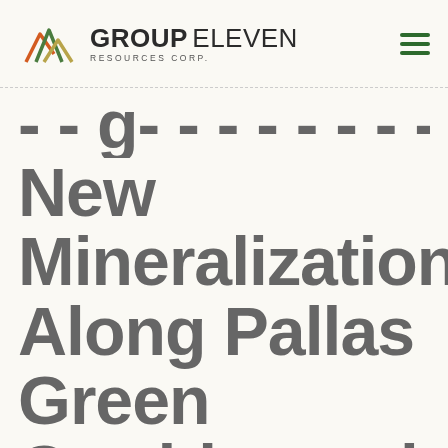GROUP ELEVEN RESOURCES CORP.
New Mineralization Along Pallas Green Corridor and D...